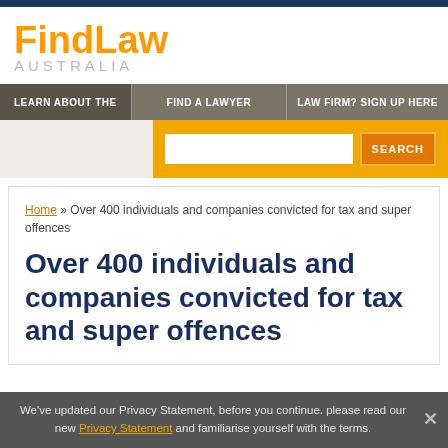[Figure (logo): FindLaw Australia logo with orange 'FindLaw' text and grey 'AUSTRALIA' subtitle]
LEARN ABOUT THE | FIND A LAWYER | LAW FIRM? SIGN UP HERE
Home » Over 400 individuals and companies convicted for tax and super offences
Over 400 individuals and companies convicted for tax and super offences
We've updated our Privacy Statement, before you continue. please read our new Privacy Statement and familiarise yourself with the terms.